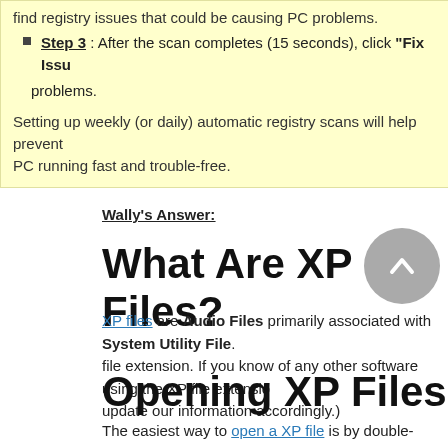find registry issues that could be causing PC problems.
Step 3: After the scan completes (15 seconds), click "Fix Issues" problems.
Setting up weekly (or daily) automatic registry scans will help prevent PC running fast and trouble-free.
Wally's Answer:
What Are XP Files?
XP files are Audio Files primarily associated with System Utility File. file extension. If you know of any other software using the XP file extension update our information accordingly.)
Opening XP Files
The easiest way to open a XP file is by double-clicking on it, which will let open it according to the Windows XP file association settings. If your co